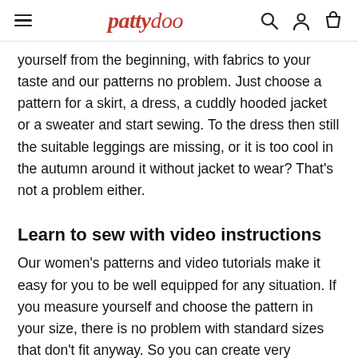pattydoo
yourself from the beginning, with fabrics to your taste and our patterns no problem. Just choose a pattern for a skirt, a dress, a cuddly hooded jacket or a sweater and start sewing. To the dress then still the suitable leggings are missing, or it is too cool in the autumn around it without jacket to wear? That's not a problem either.
Learn to sew with video instructions
Our women's patterns and video tutorials make it easy for you to be well equipped for any situation. If you measure yourself and choose the pattern in your size, there is no problem with standard sizes that don't fit anyway. So you can create very